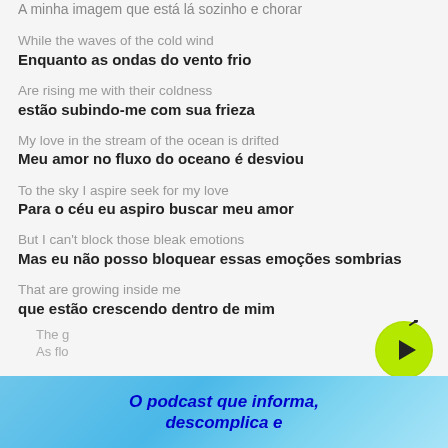A minha imagem que está lá sozinho e chorar
While the waves of the cold wind
Enquanto as ondas do vento frio
Are rising me with their coldness
estão subindo-me com sua frieza
My love in the stream of the ocean is drifted
Meu amor no fluxo do oceano é desviou
To the sky I aspire seek for my love
Para o céu eu aspiro buscar meu amor
But I can't block those bleak emotions
Mas eu não posso bloquear essas emoções sombrias
That are growing inside me
que estão crescendo dentro de mim
The g...
As flo...
[Figure (other): Green play button icon]
[Figure (other): Advertisement banner: O podcast que informa, descomplica e]